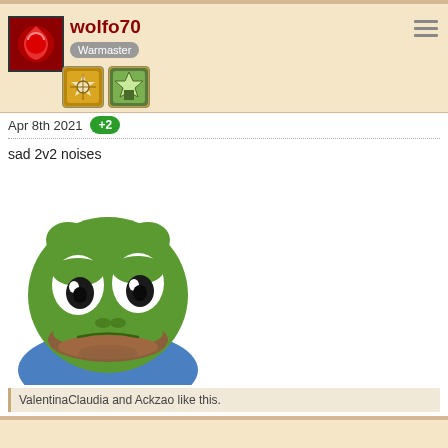wolfo70
Warmaster
Apr 8th 2021 +2
sad 2v2 noises
[Figure (illustration): Sad Pepe the Frog meme image — green cartoon frog with droopy eyes and downturned mouth wearing a blue shirt]
ValentinaClaudia and Ackzao like this.
Shozen